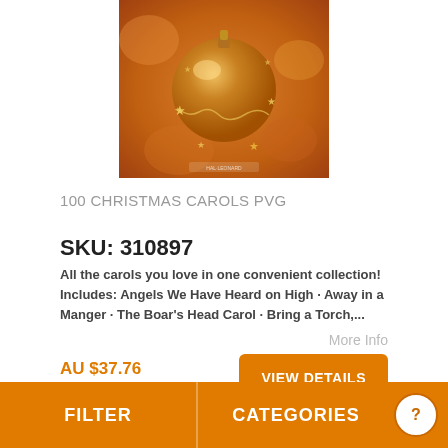[Figure (photo): Product photo of '100 Christmas Carols PVG' book cover showing a golden Christmas ornament ball with star decorations on a warm orange background, with Hal Leonard branding at bottom.]
100 CHRISTMAS CAROLS PVG
SKU: 310897
All the carols you love in one convenient collection! Includes: Angels We Have Heard on High · Away in a Manger · The Boar's Head Carol · Bring a Torch,...
More Info
AU $37.76
AU $41.95
VIEW DETAILS
FILTER    CATEGORIES